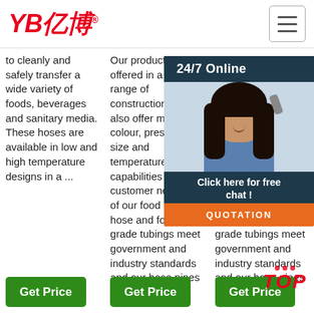[Figure (logo): YB 亿博 logo in red italic text with registered trademark symbol]
[Figure (illustration): Hamburger menu icon (three horizontal lines) in a rounded rectangle border]
to cleanly and safely transfer a wide variety of foods, beverages and sanitary media. These hoses are available in low and high temperature designs in a ...
Our products are offered in a wide range of constructions and also offer multiple colour, pressure, size and temperature capabilities to meet customer needs. All of our food grade hose and food grade tubings meet government and industry standards and our hose pipes are ...
Our products are offered in a wide range of constructions and also offer multiple colour, pressure, size and temperature capabilities to meet customer needs. All of our food grade hose and food grade tubings meet government and industry standards and our hose pipes are ...
[Figure (photo): 24/7 Online chat support panel with agent photo, 'Click here for free chat!' text, and orange QUOTATION button]
Get Price
Get Price
Get Price
[Figure (illustration): TOP button with red dots above and red italic TOP text]